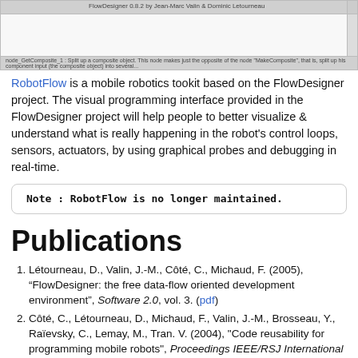[Figure (screenshot): Screenshot of FlowDesigner 0.8.2 application window by Jean-Marc Valin & Dominic Letourneau, showing a text area and a status bar with node description text.]
RobotFlow is a mobile robotics tookit based on the FlowDesigner project. The visual programming interface provided in the FlowDesigner project will help people to better visualize & understand what is really happening in the robot's control loops, sensors, actuators, by using graphical probes and debugging in real-time.
Note : RobotFlow is no longer maintained.
Publications
Létourneau, D., Valin, J.-M., Côté, C., Michaud, F. (2005), “FlowDesigner: the free data-flow oriented development environment”, Software 2.0, vol. 3. (pdf)
Côté, C., Létourneau, D., Michaud, F., Valin, J.-M., Brosseau, Y., Raïevsky, C., Lemay, M., Tran. V. (2004), "Code reusability for programming mobile robots", Proceedings IEEE/RSJ International Conference on Robots and Intelligent Systems, 1820-